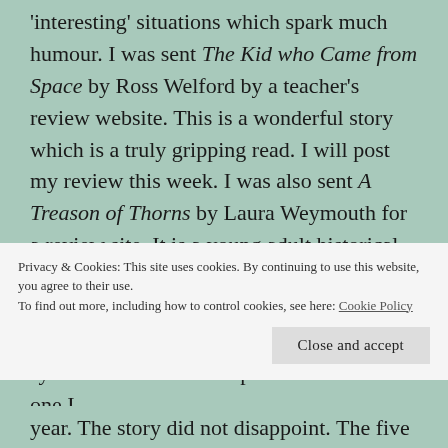'interesting' situations which spark much humour. I was sent The Kid who Came from Space by Ross Welford by a teacher's review website. This is a wonderful story which is a truly gripping read. I will post my review this week. I was also sent A Treason of Thorns by Laura Weymouth for a review site. It is a young adult historical fantasy which absolutely gripped me. Violet's relationship with the house fascinated me, as it seemed at times symbiotic and at others parasitic. This is one I
Privacy & Cookies: This site uses cookies. By continuing to use this website, you agree to their use.
To find out more, including how to control cookies, see here: Cookie Policy
year. The story did not disappoint. The five